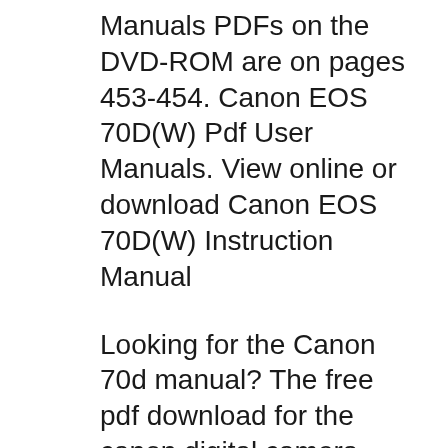Manuals PDFs on the DVD-ROM are on pages 453-454. Canon EOS 70D(W) Pdf User Manuals. View online or download Canon EOS 70D(W) Instruction Manual
Looking for the Canon 70d manual? The free pdf download for the canon digital camera manual is yours to have. This guide is very easy to get around in by using the table of contents or the index. The Canon EOS 70D manual has a Quick Start guide on pages 6 and 7 that is very useful for beginners in a hurry to get a quick jump on taking photos. Le EOS 70D offre une qualitГ© vidГ©o Full HD (1080p) exceptionnelle avec un autofocus rapide et prГ©cis grГŸce Г  la technologie exclusive AF CMOS Dual